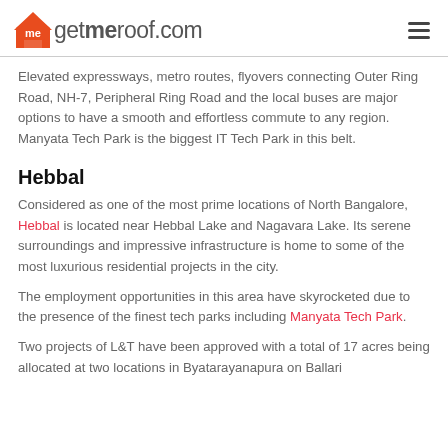getmeroof.com
Elevated expressways, metro routes, flyovers connecting Outer Ring Road, NH-7, Peripheral Ring Road and the local buses are major options to have a smooth and effortless commute to any region. Manyata Tech Park is the biggest IT Tech Park in this belt.
Hebbal
Considered as one of the most prime locations of North Bangalore, Hebbal is located near Hebbal Lake and Nagavara Lake. Its serene surroundings and impressive infrastructure is home to some of the most luxurious residential projects in the city.
The employment opportunities in this area have skyrocketed due to the presence of the finest tech parks including Manyata Tech Park.
Two projects of L&T have been approved with a total of 17 acres being allocated at two locations in Byatarayanapura on Ballari